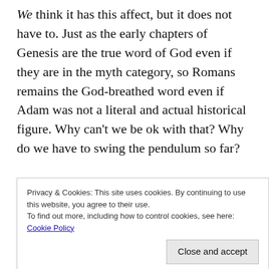We think it has this affect, but it does not have to. Just as the early chapters of Genesis are the true word of God even if they are in the myth category, so Romans remains the God-breathed word even if Adam was not a literal and actual historical figure. Why can't we be ok with that? Why do we have to swing the pendulum so far?
I can imagine in the 16th century when they were, for the first time, arguing for a heliocentric view of the
Privacy & Cookies: This site uses cookies. By continuing to use this website, you agree to their use.
To find out more, including how to control cookies, see here: Cookie Policy
Close and accept
So I don't believe we have to swing the pendulum so